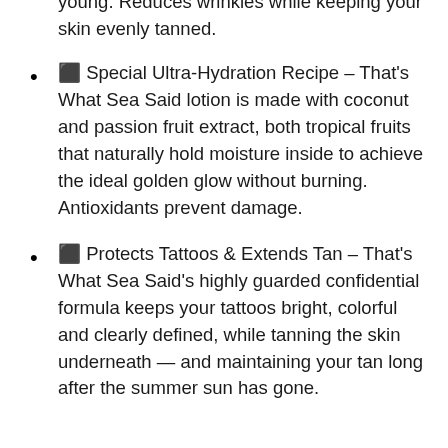natural, vibrant glow that always looks young. Reduces wrinkles while keeping your skin evenly tanned.
⬛ Special Ultra-Hydration Recipe – That's What Sea Said lotion is made with coconut and passion fruit extract, both tropical fruits that naturally hold moisture inside to achieve the ideal golden glow without burning. Antioxidants prevent damage.
⬛ Protects Tattoos & Extends Tan – That's What Sea Said's highly guarded confidential formula keeps your tattoos bright, colorful and clearly defined, while tanning the skin underneath — and maintaining your tan long after the summer sun has gone.